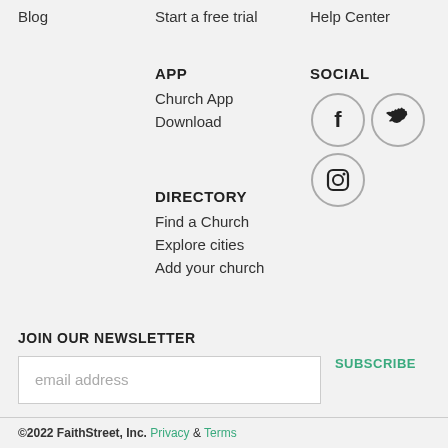Blog
Start a free trial
Help Center
APP
Church App
Download
SOCIAL
[Figure (illustration): Social media icons: Facebook, Twitter, Instagram in circular outlines]
DIRECTORY
Find a Church
Explore cities
Add your church
JOIN OUR NEWSLETTER
email address
SUBSCRIBE
©2022 FaithStreet, Inc. Privacy & Terms